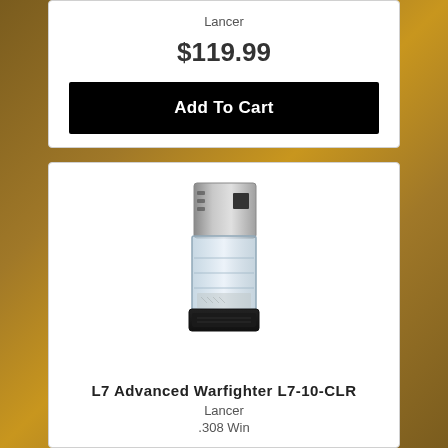Lancer
$119.99
Add To Cart
[Figure (photo): Silver/clear translucent Lancer L7 Advanced Warfighter rifle magazine with black base, model L7-10-CLR]
L7 Advanced Warfighter L7-10-CLR
Lancer
.308 Win